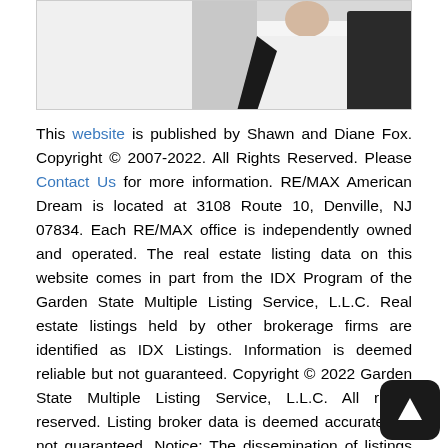[Figure (photo): Photo box showing partial image of a person in white shirt and dark jacket, cropped at top of page]
This website is published by Shawn and Diane Fox. Copyright © 2007-2022. All Rights Reserved. Please Contact Us for more information. RE/MAX American Dream is located at 3108 Route 10, Denville, NJ 07834. Each RE/MAX office is independently owned and operated. The real estate listing data on this website comes in part from the IDX Program of the Garden State Multiple Listing Service, L.L.C. Real estate listings held by other brokerage firms are identified as IDX Listings. Information is deemed reliable but not guaranteed. Copyright © 2022 Garden State Multiple Listing Service, L.L.C. All rights reserved. Listing broker data is deemed accurate but not guaranteed. Notice: The dissemination of listings on this website does not constitute the consent required by N.J.A.C. 11:5.6.1 (n) for the advertisement of listings exclusively for sale by another broker. Any such consent must be obtained in writing from the listing broker. This information is being provided for Consumers' personal, non-commercial use and may not be used for any purpose other than to identify prospective properties Consumers may be interested in purchasing. This web